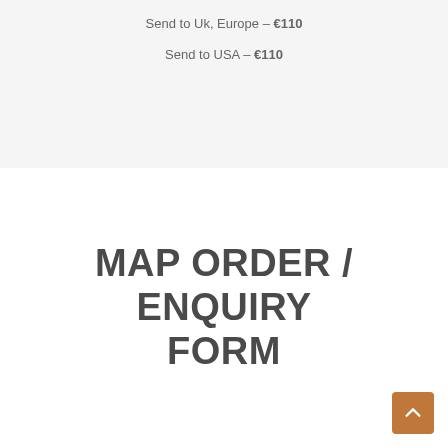Send to Uk, Europe – €110
Send to USA – €110
MAP ORDER / ENQUIRY FORM